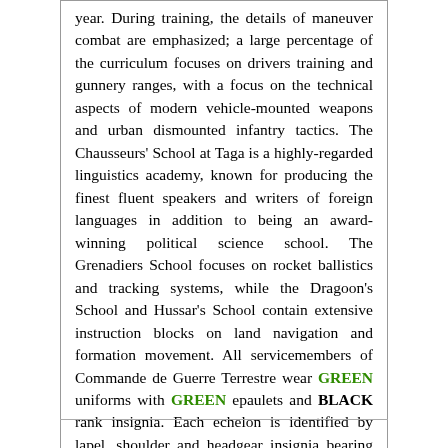year. During training, the details of maneuver combat are emphasized; a large percentage of the curriculum focuses on drivers training and gunnery ranges, with a focus on the technical aspects of modern vehicle-mounted weapons and urban dismounted infantry tactics. The Chausseurs' School at Taga is a highly-regarded linguistics academy, known for producing the finest fluent speakers and writers of foreign languages in addition to being an award-winning political science school. The Grenadiers School focuses on rocket ballistics and tracking systems, while the Dragoon's School and Hussar's School contain extensive instruction blocks on land navigation and formation movement. All servicemembers of Commande de Guerre Terrestre wear GREEN uniforms with GREEN epaulets and BLACK rank insignia. Each echelon is identified by lapel, shoulder and headgear insignia bearing the echelon crest the uniform and its wearer are assigned to. The four echelons of CGT are represented here, in order of funding percentage: